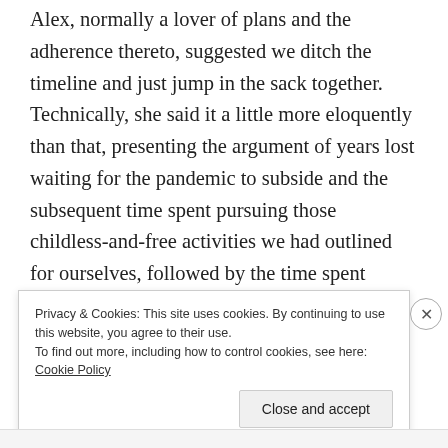Alex, normally a lover of plans and the adherence thereto, suggested we ditch the timeline and just jump in the sack together. Technically, she said it a little more eloquently than that, presenting the argument of years lost waiting for the pandemic to subside and the subsequent time spent pursuing those childless-and-free activities we had outlined for ourselves, followed by the time spent trying to get pregnant and our hypothetical ages when we did finally become parents, but it boiled down to the same thing: it was baby-making time.
Privacy & Cookies: This site uses cookies. By continuing to use this website, you agree to their use.
To find out more, including how to control cookies, see here: Cookie Policy
Close and accept